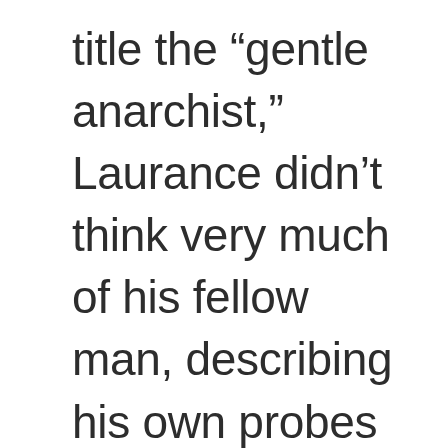title the “gentle anarchist,” Laurance didn’t think very much of his fellow man, describing his own probes into “what